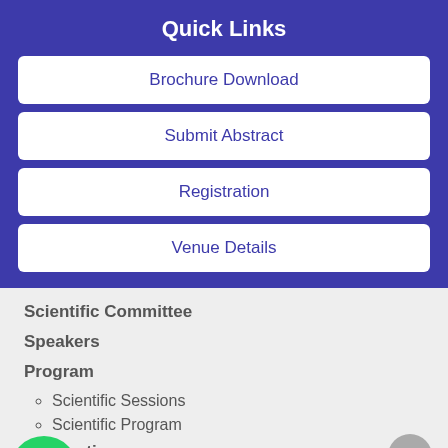Quick Links
Brochure Download
Submit Abstract
Registration
Venue Details
Scientific Committee
Speakers
Program
Scientific Sessions
Scientific Program
Information
Venue
Accommodation